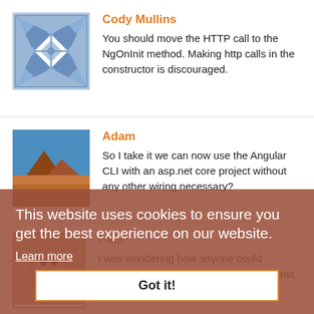Cody Mullins
You should move the HTTP call to the NgOnInit method. Making http calls in the constructor is discouraged.
Adam
So I take it we can now use the Angular CLI with an asp.net core project without any other wiring necessary?
This website uses cookies to ensure you get the best experience on our website. Learn more
Got it!
Paul
I was wondering how anyone could describe 38C as mild but now see it is just picking a random summary!